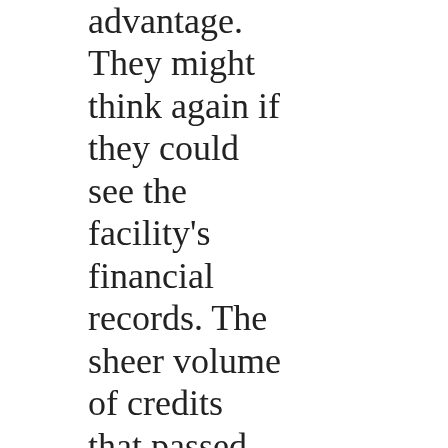advantage. They might think again if they could see the facility's financial records. The sheer volume of credits that passed through the station in a single day was the envy of any colony